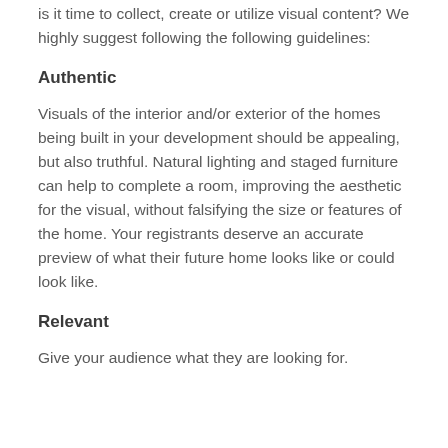is it time to collect, create or utilize visual content? We highly suggest following the following guidelines:
Authentic
Visuals of the interior and/or exterior of the homes being built in your development should be appealing, but also truthful. Natural lighting and staged furniture can help to complete a room, improving the aesthetic for the visual, without falsifying the size or features of the home. Your registrants deserve an accurate preview of what their future home looks like or could look like.
Relevant
Give your audience what they are looking for.